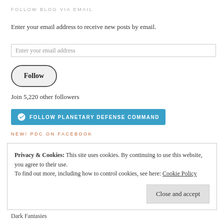FOLLOW BLOG VIA EMAIL
Enter your email address to receive new posts by email.
Enter your email address
Follow
Join 5,220 other followers
Follow Planetary Defense Command
NEW! PDC ON FACEBOOK
Privacy & Cookies: This site uses cookies. By continuing to use this website, you agree to their use. To find out more, including how to control cookies, see here: Cookie Policy
Close and accept
Dark Fantasies